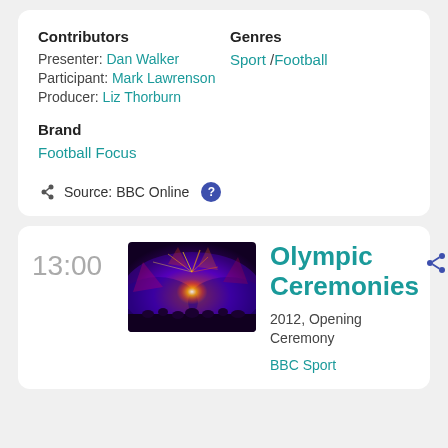Contributors
Presenter: Dan Walker
Participant: Mark Lawrenson
Producer: Liz Thorburn
Genres
Sport / Football
Brand
Football Focus
Source: BBC Online
13:00
[Figure (photo): Olympic ceremony with bright orange explosion of light on stage with purple lighting]
Olympic Ceremonies
2012, Opening Ceremony
BBC Sport